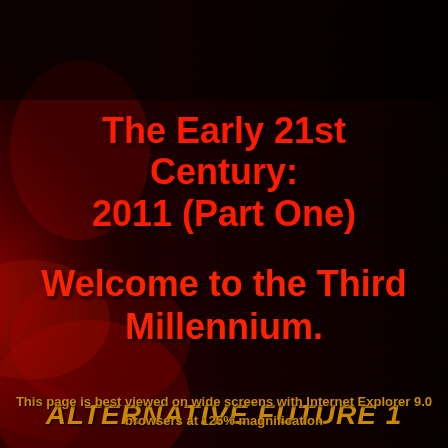[Figure (illustration): Dark red background with smoke/mist effect on the left side and a diagonal crosshatch/carbon fiber pattern on the right side, creating a moody atmospheric backdrop]
The Early 21st Century: 2011 (Part One)
Welcome to the Third Millennium.
ALTERNATIVE FUTURE 1
This page is best viewed on wide screens with Internet Explorer 9.0 browsers at 125% magnification